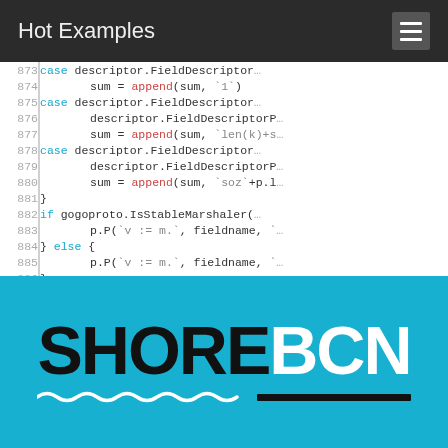Hot Examples
[Figure (screenshot): Code editor screenshot showing lines 873-887 with Go/proto code involving case statements, descriptor.FieldDescriptor, append, gogoproto.IsStableMarshaler, and accessor assignments]
[Figure (logo): SHORE BCN logo on cyan/blue background with wave underline and black bar]